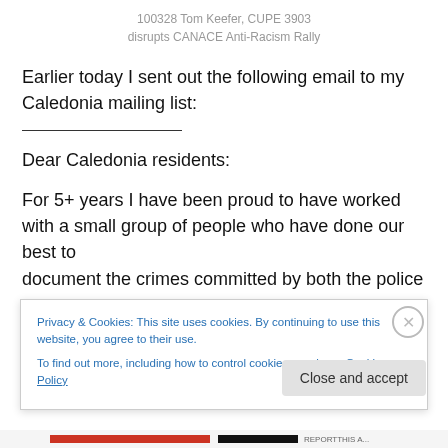100328 Tom Keefer, CUPE 3903 disrupts CANACE Anti-Racism Rally
Earlier today I sent out the following email to my Caledonia mailing list:
Dear Caledonia residents:
For 5+ years I have been proud to have worked with a small group of people who have done our best to document the crimes committed by both the police and
Privacy & Cookies: This site uses cookies. By continuing to use this website, you agree to their use. To find out more, including how to control cookies, see here: Cookie Policy
Close and accept